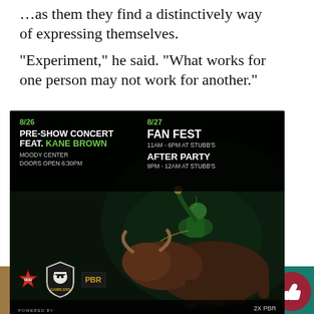...as them they find a distinctively way of expressing themselves.
“Experiment,” he said. “What works for one person may not work for another.”
[Figure (photo): Advertisement for PBR (Professional Bull Riders) event in Austin. Shows two dates: 8/26 Pre-Show Concert feat. Kane Brown at Moody Center Doors Open 6:30PM, and 8/27 Fan Fest 11AM-6PM at Stubb's and After Party 9PM-12AM at Stubb's. Features Houston Gamblers logo, PBR logo, Dell Technologies sponsor, and a bull rider image. Text: 2X PBR WORLD CHAMP JOSE VITOR LEME.]
[Figure (infographic): Daily Digest banner with phone icon and teal/green background. Close X button visible.]